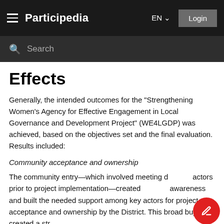Participedia  EN  Login
Search
Effects
Generally, the intended outcomes for the "Strengthening Women's Agency for Effective Engagement in Local Governance and Development Project" (WE4LGDP) was achieved, based on the objectives set and the final evaluation. Results included:
Community acceptance and ownership
The community entry—which involved meeting d actors prior to project implementation—created awareness and built the needed support among key actors for project acceptance and ownership by the District. This broad buy-in created a str